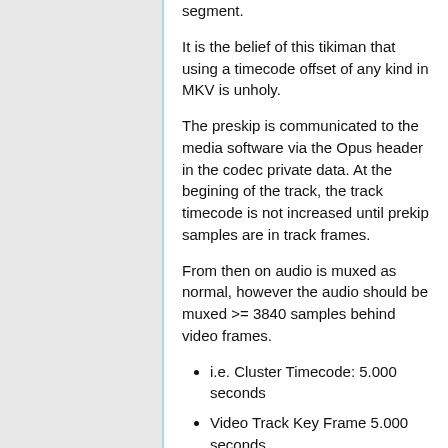segment.
It is the belief of this tikiman that using a timecode offset of any kind in MKV is unholy.
The preskip is communicated to the media software via the Opus header in the codec private data. At the begining of the track, the track timecode is not increased until prekip samples are in track frames.
From then on audio is muxed as normal, however the audio should be muxed >= 3840 samples behind video frames.
i.e. Cluster Timecode: 5.000 seconds
Video Track Key Frame 5.000 seconds
Opus Track Frame 4.920 seconds